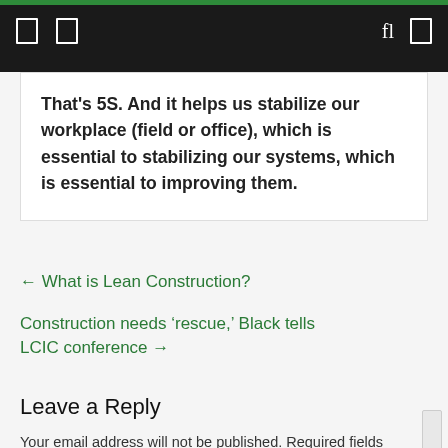That's 5S. And it helps us stabilize our workplace (field or office), which is essential to stabilizing our systems, which is essential to improving them.
← What is Lean Construction?
Construction needs ‘rescue,’ Black tells LCIC conference →
Leave a Reply
Your email address will not be published. Required fields are marked *